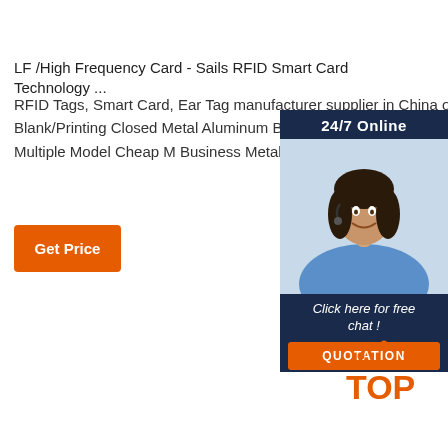LF /High Frequency Card - Sails RFID Smart Card Technology ...
RFID Tags, Smart Card, Ear Tag manufacturer supplier in China offering Blank/Printing Closed Metal Aluminum Birds Pigeon, Factory Wholesale Multiple Model Cheap M Business Metal ID Card for Your Choice, Sheep TPU
[Figure (photo): Customer service representative with headset, with '24/7 Online' banner, 'Click here for free chat!' text, and orange QUOTATION button]
[Figure (logo): Orange TOP logo with dotted arc above text]